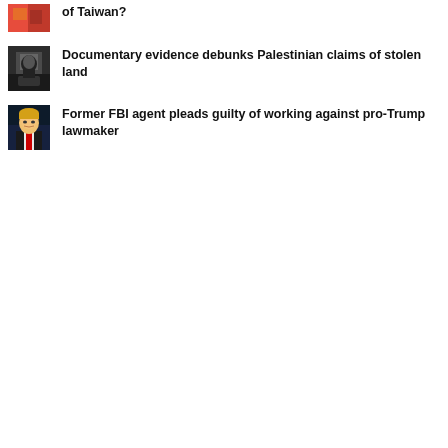[Figure (photo): Thumbnail image with red/orange tones, partially cropped at top]
of Taiwan?
[Figure (photo): Thumbnail image showing a person in dark clothing/mask]
Documentary evidence debunks Palestinian claims of stolen land
[Figure (photo): Thumbnail image of a man in a suit, appearing to be Donald Trump]
Former FBI agent pleads guilty of working against pro-Trump lawmaker